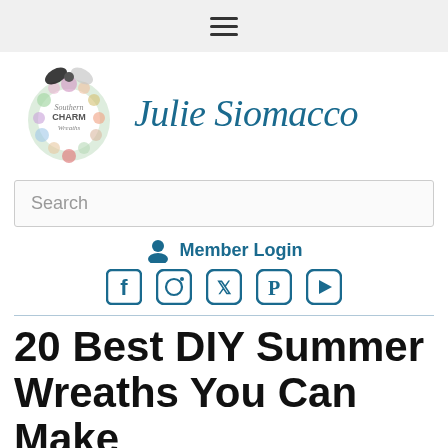☰ (hamburger menu navigation bar)
[Figure (logo): Southern Charm Wreaths logo with wreath illustration and Julie Siomacco signature in teal cursive]
Search
Member Login
[Figure (infographic): Social media icons: Facebook, Instagram, Twitter, Pinterest, YouTube in dark teal]
20 Best DIY Summer Wreaths You Can Make